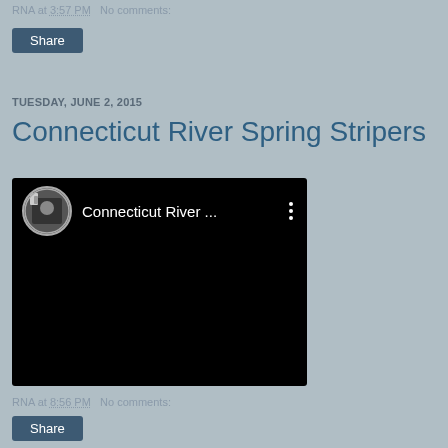RNA at 3:57 PM   No comments:
Share
TUESDAY, JUNE 2, 2015
Connecticut River Spring Stripers
[Figure (screenshot): Embedded video player with black background, circular avatar thumbnail on the left, text 'Connecticut River ...' and three vertical dots menu icon]
RNA at 8:56 PM   No comments:
Share